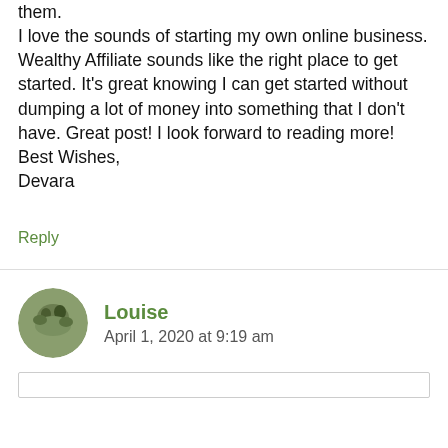difficult to make any money participating in them. I love the sounds of starting my own online business. Wealthy Affiliate sounds like the right place to get started. It's great knowing I can get started without dumping a lot of money into something that I don't have. Great post! I look forward to reading more! Best Wishes, Devara
Reply
Louise
April 1, 2020 at 9:19 am